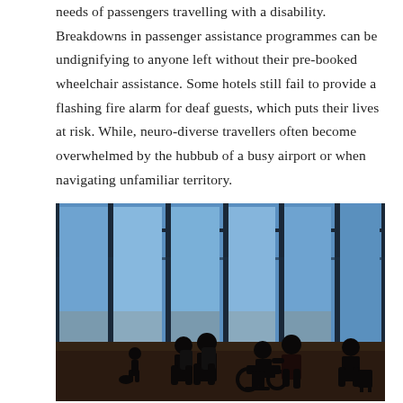needs of passengers travelling with a disability. Breakdowns in passenger assistance programmes can be undignifying to anyone left without their pre-booked wheelchair assistance. Some hotels still fail to provide a flashing fire alarm for deaf guests, which puts their lives at risk. While, neuro-diverse travellers often become overwhelmed by the hubbub of a busy airport or when navigating unfamiliar territory.
[Figure (photo): Silhouetted figures in an airport terminal with large floor-to-ceiling windows showing a bright blue sky and airport tarmac. A person in a wheelchair is being pushed by another person (wearing an orange top), with other travellers including a child and adults with luggage walking nearby. The floor reflects the light from the windows.]